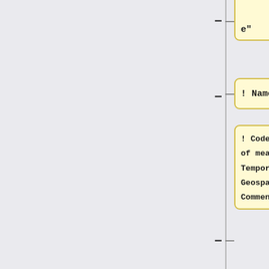[Figure (flowchart): Wikipedia-style wikitext table structure diagram showing nodes connected by lines. Nodes include truncated text at top, '! Name', '! Code !! Quality !! Unit of measurement !! Temporal granularity !! Geospatial scope !! Comments', '|-', '! Temperature', and '| temperature || temperature || °C, °F, K || realtime, hourly, daily || globally || temperature'. A blue box on the right shows 'available weather variables}}'.]